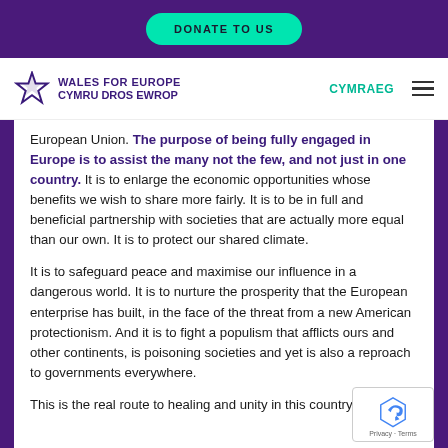DONATE TO US
[Figure (logo): Wales for Europe / Cymru Dros Ewrop logo with star]
European Union. The purpose of being fully engaged in Europe is to assist the many not the few, and not just in one country. It is to enlarge the economic opportunities whose benefits we wish to share more fairly. It is to be in full and beneficial partnership with societies that are actually more equal than our own. It is to protect our shared climate.
It is to safeguard peace and maximise our influence in a dangerous world. It is to nurture the prosperity that the European enterprise has built, in the face of the threat from a new American protectionism. And it is to fight a populism that afflicts ours and other continents, is poisoning societies and yet is also a reproach to governments everywhere.
This is the real route to healing and unity in this country,